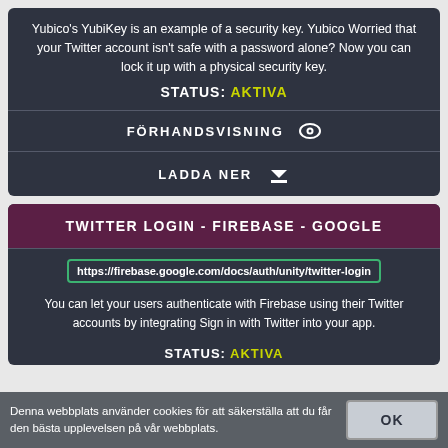Yubico's YubiKey is an example of a security key. Yubico Worried that your Twitter account isn't safe with a password alone? Now you can lock it up with a physical security key.
STATUS: AKTIVA
FÖRHANDSVISNING
LADDA NER
TWITTER LOGIN - FIREBASE - GOOGLE
https://firebase.google.com/docs/auth/unity/twitter-login
You can let your users authenticate with Firebase using their Twitter accounts by integrating Sign in with Twitter into your app.
STATUS: AKTIVA
Denna webbplats använder cookies för att säkerställa att du får den bästa upplevelsen på vår webbplats.